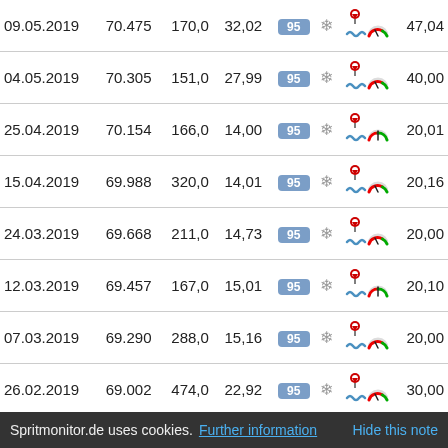| Date | Odometer | km | €/100km | Fuel | Winter | Icons | Gauge | L/100km |
| --- | --- | --- | --- | --- | --- | --- | --- | --- |
| 09.05.2019 | 70.475 | 170,0 | 32,02 | 95 | ❄ |  |  | 47,04 |
| 04.05.2019 | 70.305 | 151,0 | 27,99 | 95 | ❄ |  |  | 40,00 |
| 25.04.2019 | 70.154 | 166,0 | 14,00 | 95 | ❄ |  |  | 20,01 |
| 15.04.2019 | 69.988 | 320,0 | 14,01 | 95 | ❄ |  |  | 20,16 |
| 24.03.2019 | 69.668 | 211,0 | 14,73 | 95 | ❄ |  |  | 20,00 |
| 12.03.2019 | 69.457 | 167,0 | 15,01 | 95 | ❄ |  |  | 20,10 |
| 07.03.2019 | 69.290 | 288,0 | 15,16 | 95 | ❄ |  |  | 20,00 |
| 26.02.2019 | 69.002 | 474,0 | 22,92 | 95 | ❄ |  |  | 30,00 |
| 30.01.2019 | 68.528 | 592,0 | 45,28 | 95 | ❄ |  |  | 57,01 |
| 15.01.2019 |  |  | 22,77 | 95 | ❄ |  |  | 30,03 |
Spritmonitor.de uses cookies. Further information   Hide this note